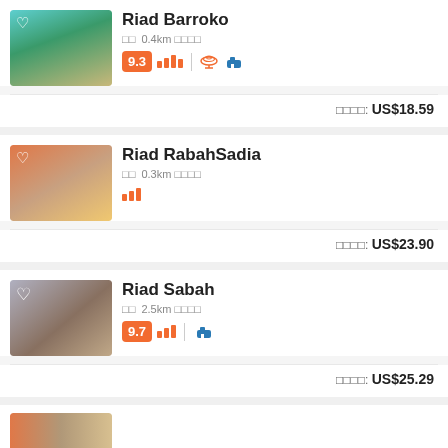[Figure (photo): Hotel pool with turquoise water]
Riad Barroko
□□  0.4km □□□□
9.3 amenities icons: wifi, coffee
□□□□: US$18.59
[Figure (photo): Hotel terrace with red chairs]
Riad RabahSadia
□□  0.3km □□□□
□□□
□□□□: US$23.90
[Figure (photo): Couple standing at hotel]
Riad Sabah
□□  2.5km □□□□
9.7 amenities icons: coffee
□□□□: US$25.29
[Figure (photo): Partial listing image at bottom]